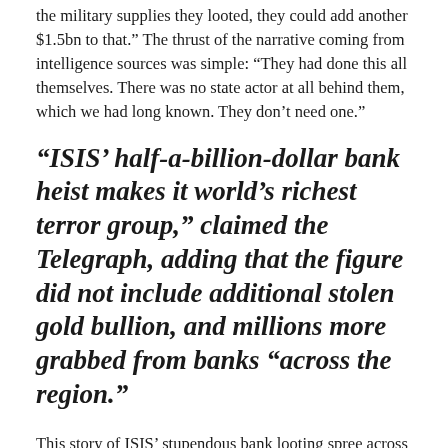the military supplies they looted, they could add another $1.5bn to that.” The thrust of the narrative coming from intelligence sources was simple: “They had done this all themselves. There was no state actor at all behind them, which we had long known. They don’t need one.”
“ISIS’ half-a-billion-dollar bank heist makes it world’s richest terror group,” claimed the Telegraph, adding that the figure did not include additional stolen gold bullion, and millions more grabbed from banks “across the region.”
This story of ISIS’ stupendous bank looting spree across